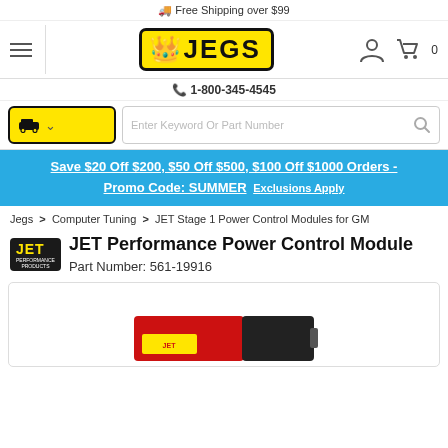🚚 Free Shipping over $99
[Figure (logo): JEGS logo in yellow box with black bold text and crown icon]
1-800-345-4545
Enter Keyword Or Part Number
Save $20 Off $200, $50 Off $500, $100 Off $1000 Orders - Promo Code: SUMMER Exclusions Apply
Jegs > Computer Tuning > JET Stage 1 Power Control Modules for GM
JET Performance Power Control Module
Part Number: 561-19916
[Figure (photo): JET Performance Power Control Module product photo showing a red and black device at the bottom of the product image area]